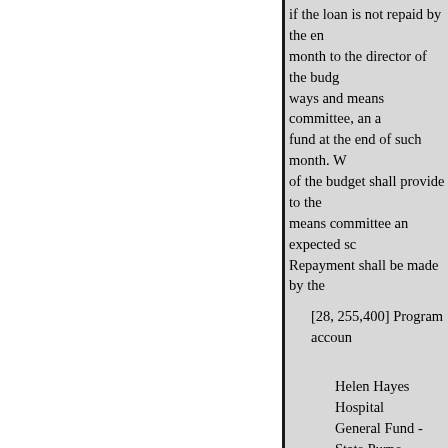if the loan is not repaid by the en month to the director of the budg ways and means committee, an a fund at the end of such month. W of the budget shall provide to the means committee an expected sc Repayment shall be made by the
[28, 255,400] Program accoun
Helen Hayes Hospital General Fund - State Purpo Less amount to be appropri
cial revenue funds • other m nue fund health services acco
[18,064,7001 Program accoun
[1,591, 90
Special Revenue Funds - Fe Miscellaneous Special Reve Health Services Account